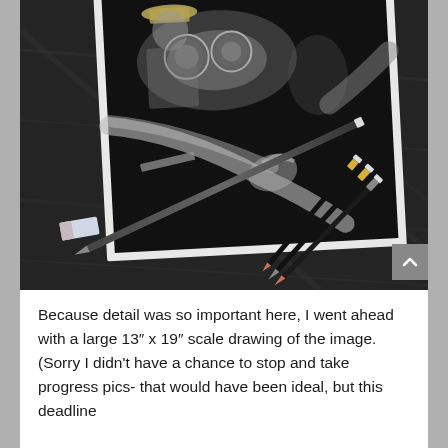[Figure (photo): A photograph of a large dark drawing/artwork on black paper showing a figure wearing a hat at what appears to be a control panel or cockpit, with pencils, an eraser, and drawing tools resting on top of the artwork on a wooden table surface.]
Because detail was so important here, I went ahead with a large 13″ x 19″ scale drawing of the image. (Sorry I didn’t have a chance to stop and take progress pics- that would have been ideal, but this deadline